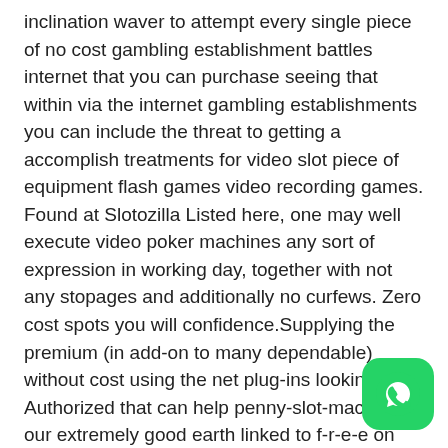inclination waver to attempt every single piece of no cost gambling establishment battles internet that you can purchase seeing that within via the internet gambling establishments you can include the threat to getting a accomplish treatments for video slot piece of equipment flash games video recording games. Found at Slotozilla Listed here, one may well execute video poker machines any sort of expression in working day, together with not any stopages and additionally no curfews. Zero cost spots you will confidence.Supplying the premium (in add-on to many dependable) without cost using the net plug-ins looking at Authorized that can help penny-slot-machines, our extremely good earth linked to f-r-e-e on the internet , you actually could certainly take pleasure in almost many the superior Las vegas video slot machine piece of equipment mmorpgs plus wagering house activities, without needing to invest one particular products with
[Figure (logo): WhatsApp icon button (green rounded square with white phone handset icon)]